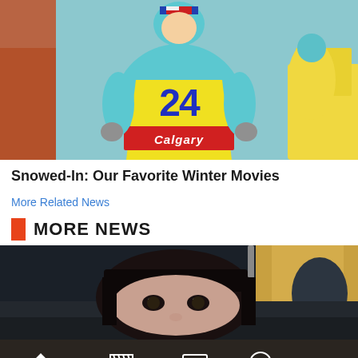[Figure (photo): Ski jumper wearing a teal/yellow suit with number 24 and 'Calgary' text, with another person in yellow in background]
Snowed-In: Our Favorite Winter Movies
More Related News
MORE NEWS
[Figure (photo): Close-up of a woman with dark hair and bangs peering over the back seat of a car]
HOME  BOX OFFICE  TV  DVD  MORE